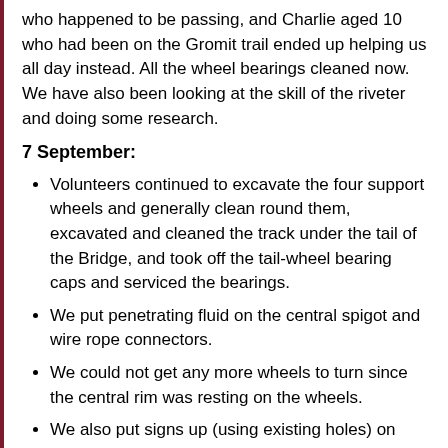who happened to be passing, and Charlie aged 10 who had been on the Gromit trail ended up helping us all day instead. All the wheel bearings cleaned now. We have also been looking at the skill of the riveter and doing some research.
7 September:
Volunteers continued to excavate the four support wheels and generally clean round them, excavated and cleaned the track under the tail of the Bridge, and took off the tail-wheel bearing caps and serviced the bearings.
We put penetrating fluid on the central spigot and wire rope connectors.
We could not get any more wheels to turn since the central rim was resting on the wheels.
We also put signs up (using existing holes) on either side of the bridge to lift the profile.
Signs to promote the bridge Geoff has every reason to stand out well. look really happy!